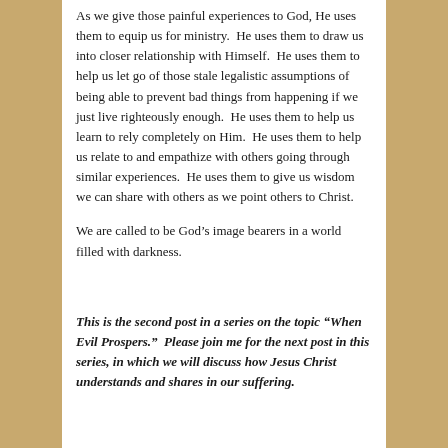As we give those painful experiences to God, He uses them to equip us for ministry.  He uses them to draw us into closer relationship with Himself.  He uses them to help us let go of those stale legalistic assumptions of being able to prevent bad things from happening if we just live righteously enough.  He uses them to help us learn to rely completely on Him.  He uses them to help us relate to and empathize with others going through similar experiences.  He uses them to give us wisdom we can share with others as we point others to Christ.
We are called to be God’s image bearers in a world filled with darkness.
This is the second post in a series on the topic “When Evil Prospers.”  Please join me for the next post in this series, in which we will discuss how Jesus Christ understands and shares in our suffering.